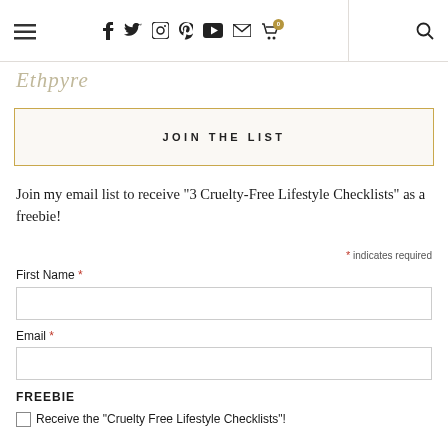Navigation bar with hamburger menu, social icons (facebook, twitter, instagram, pinterest, youtube, email, cart with badge 0), and search icon
JOIN THE LIST
Join my email list to receive "3 Cruelty-Free Lifestyle Checklists" as a freebie!
* indicates required
First Name *
Email *
FREEBIE
Receive the "Cruelty Free Lifestyle Checklists"!